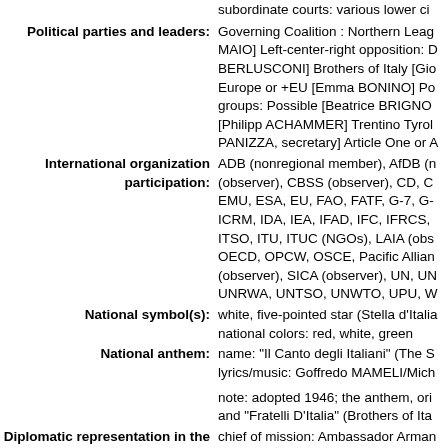subordinate courts: various lower courts
Political parties and leaders: Governing Coalition : Northern League [Luigi DI MAIO] Left-center-right opposition: Democratic Party [Enrico BERLUSCONI] Brothers of Italy [Giorgia MELONI] More Europe or +EU [Emma BONINO] Popular Alternative groups: Possible [Beatrice BRIGNONE] South Tyrol People's Party [Philipp ACHAMMER] Trentino Tyrol-SVP Alliance [Franco PANIZZA, secretary] Article One or A
International organization participation: ADB (nonregional member), AfDB (nonregional member) (observer), CBSS (observer), CD, CE, CEI, CERN, EAPC, EMU, ESA, EU, FAO, FATF, G-7, G-8, G-10, G-20, IADB, ICRM, IDA, IEA, IFAD, IFC, IFRCS, IGAD (partners), IHO, ITSO, ITU, ITUC (NGOs), LAIA (observer), MIGA, NATO, NSG, OECD, OPCW, OSCE, Pacific Alliance (observer), ParlatMed (observer), SICA (observer), UN, UNCTAD, UNESCO, UNHCR, UNIDO, UNIFIL, UNRWA, UNTSO, UNWTO, UPU, WCO, WFTU
National symbol(s): white, five-pointed star (Stella d'Italia); national colors: red, white, green
National anthem: name: "Il Canto degli Italiani" (The Song of the Italians); lyrics/music: Goffredo MAMELI/Michele NOVARO
note: adopted 1946; the anthem, originally written in 1847, is also known as "Il Fratello D'Italia" (Brothers of Italy)
Diplomatic representation in the US: chief of mission: Ambassador Armando VARRICCHIO; chancery: 3000 Whitehaven Street NW, Washington, DC 20008; telephone: [1] (202) 612-4400; FAX: [1] (202) 518-2151; consulate(s) general: Boston, Chicago, Houston, Miami, New York, San Francisco consulate(s): Charlotte (NC), Cleveland (OH), Detroit (MI), New Orleans, Newark (NJ), Norfolk (VA)